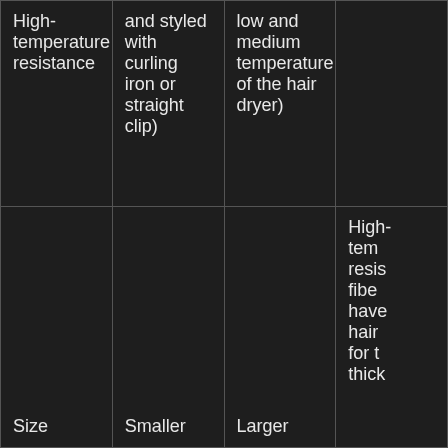| High-temperature resistance | and styled with curling iron or straight clip) | low and medium temperature of the hair dryer) |  |
| Size | Smaller | Larger | High-temperature resistance fibers have hair for the thick |
| Feeling | Softer | Stiffer |  |